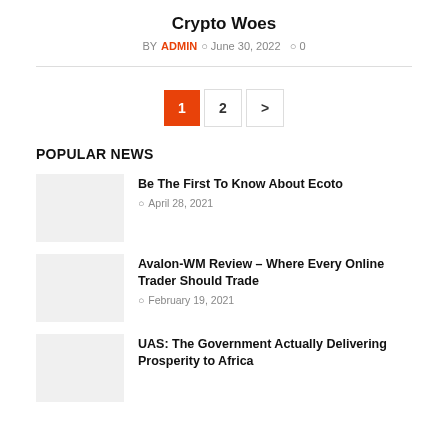Crypto Woes
BY ADMIN  June 30, 2022  0
1  2  >
POPULAR NEWS
Be The First To Know About Ecoto
April 28, 2021
Avalon-WM Review – Where Every Online Trader Should Trade
February 19, 2021
UAS: The Government Actually Delivering Prosperity to Africa